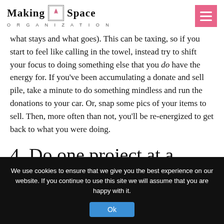Making Space Organization
what stays and what goes). This can be taxing, so if you start to feel like calling in the towel, instead try to shift your focus to doing something else that you do have the energy for. If you've been accumulating a donate and sell pile, take a minute to do something mindless and run the donations to your car. Or, snap some pics of your items to sell. Then, more often than not, you'll be re-energized to get back to what you were doing.
4. Do one project at a time.
We use cookies to ensure that we give you the best experience on our website. If you continue to use this site we will assume that you are happy with it.